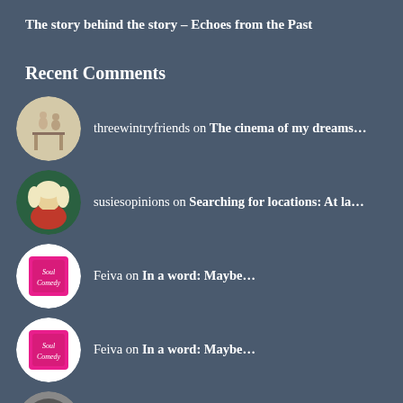The story behind the story – Echoes from the Past
Recent Comments
threewintryfriends on The cinema of my dreams…
susiesopinions on Searching for locations: At la…
Feiva on In a word: Maybe…
Feiva on In a word: Maybe…
OIKOS™– Art, Books… on The first attempt is exactly t…